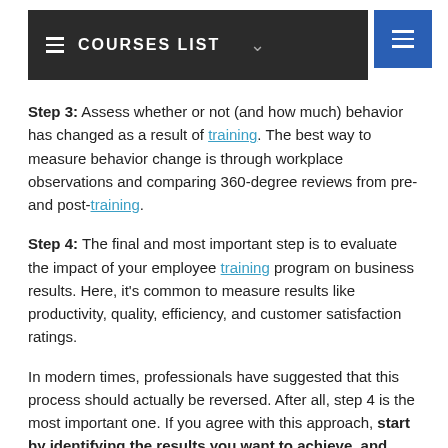≡ COURSES LIST ∨
Step 3: Assess whether or not (and how much) behavior has changed as a result of training. The best way to measure behavior change is through workplace observations and comparing 360-degree reviews from pre- and post-training.
Step 4: The final and most important step is to evaluate the impact of your employee training program on business results. Here, it's common to measure results like productivity, quality, efficiency, and customer satisfaction ratings.
In modern times, professionals have suggested that this process should actually be reversed. After all, step 4 is the most important one. If you agree with this approach, start by identifying the results you want to achieve, and work backward from there.